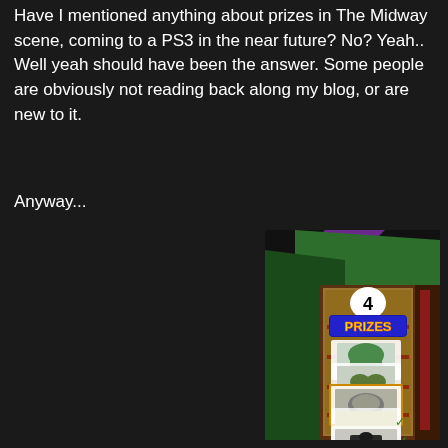Have I mentioned anything about prizes in The Midway scene, coming to a PS3 in the near future? No? Yeah.. Well yeah should have been the answer. Some people are obviously not reading back along my blog, or are new to it.
Anyway...
[Figure (screenshot): A 3D rendered game screenshot showing a carnival midway booth with a vertical banner reading 'PRIZES' and displaying images of prize items including clothing and other objects. The booth has a green roof structure and a circular number '4' marker. The scene appears to be from a PS3 video game.]